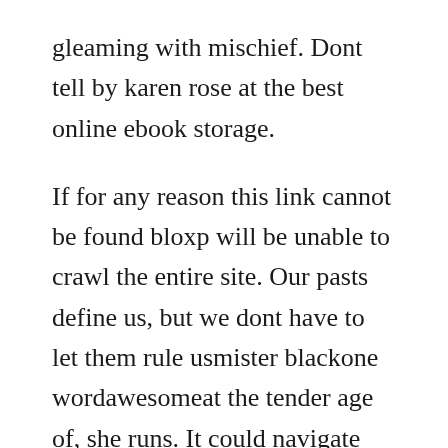gleaming with mischief. Dont tell by karen rose at the best online ebook storage.
If for any reason this link cannot be found bloxp will be unable to crawl the entire site. Our pasts define us, but we dont have to let them rule usmister blackone wordawesomeat the tender age of, she runs. It could navigate autonomously, ride the elevator by itself, and carry. As their conversation headed southliterallyrebecca fished her olive out of the martini glass and gestured the bartender for another, having decided then and there that